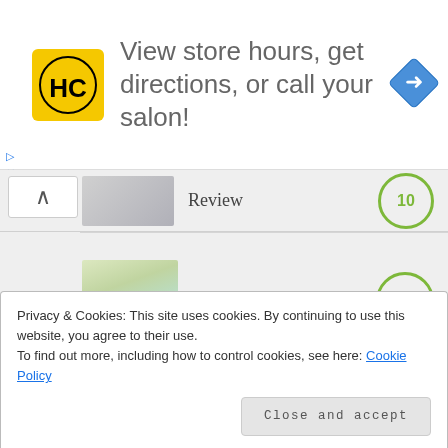[Figure (other): Ad banner: HC logo (yellow square with HC letters), text 'View store hours, get directions, or call your salon!', blue diamond navigation icon]
[Figure (photo): Partial thumbnail of a product, partially visible at top]
Review
[Figure (photo): Thumbnail image of Green Goo Hand Soap product]
Green Goo Hand Soap
[Figure (photo): Thumbnail image of child on bike seat]
iBert Child Bike Seat Review
Privacy & Cookies: This site uses cookies. By continuing to use this website, you agree to their use.
To find out more, including how to control cookies, see here: Cookie Policy
Close and accept